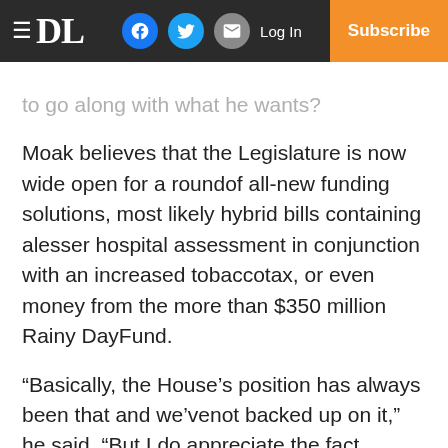DL | Log In | Subscribe
to go along with what he wants?
Moak believes that the Legislature is now wide open for a roundof all-new funding solutions, most likely hybrid bills containing alesser hospital assessment in conjunction with an increased tobaccotax, or even money from the more than $350 million Rainy DayFund.
“Basically, the House’s position has always been that and we’venot backed up on it,” he said. “But I do appreciate the fact thatthe governor withdrew the cuts. I’m glad he came around to thatposition and